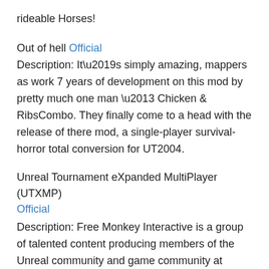rideable Horses!
Out of hell Official
Description: It’s simply amazing, mappers as work 7 years of development on this mod by pretty much one man – Chicken & RibsCombo. They finally come to a head with the release of there mod, a single-player survival-horror total conversion for UT2004.
Unreal Tournament eXpanded MultiPlayer (UTXMP) Official
Description: Free Monkey Interactive is a group of talented content producing members of the Unreal community and game community at large. Currently Free Monkey Interactive is bringing the Expanded Multiplayer (XMP) action to Unreal Tournament 2004 in the form of a total conversion.